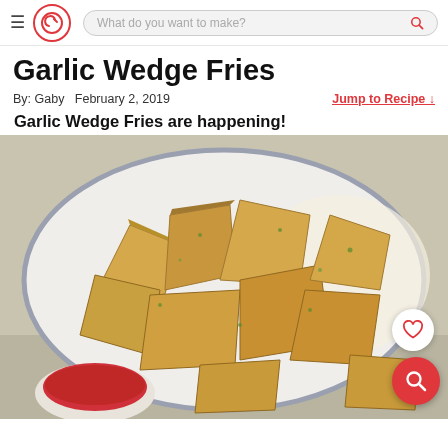Garlic — navigation bar with hamburger menu, logo G, and search bar 'What do you want to make?'
Garlic Wedge Fries
By: Gaby   February 2, 2019
Jump to Recipe ↓
Garlic Wedge Fries are happening!
[Figure (photo): Overhead photo of garlic wedge fries piled in a white baking dish on parchment paper, sprinkled with green herbs, with a small ramekin of ketchup in the lower left. Two floating action buttons (heart and search) visible at bottom-right.]